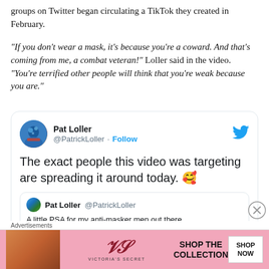groups on Twitter began circulating a TikTok they created in February.
“If you don’t wear a mask, it’s because you’re a coward. And that’s coming from me, a combat veteran!” Loller said in the video. “You’re terrified other people will think that you’re weak because you are.”
[Figure (screenshot): Embedded tweet by Pat Loller (@PatrickLoller) with text: 'The exact people this video was targeting are spreading it around today. 🥰' with a nested quote tweet also by Pat Loller @PatrickLoller: 'A little PSA for my anti-masker men out there'. Twitter bird logo visible. Follow button shown.]
[Figure (photo): Victoria's Secret advertisement banner with a woman model with curly hair, VS logo, text 'SHOP THE COLLECTION' and 'SHOP NOW' button on pink background.]